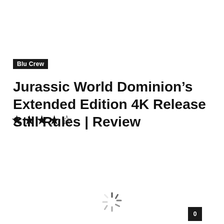Blu Crew
Jurassic World Dominion’s Extended Edition 4K Release Still Rules | Review
[Figure (other): Star rating: 4 out of 5 filled stars and 1 empty star]
[Figure (other): Comment count badge showing 0]
[Figure (other): Loading spinner icon at bottom center]